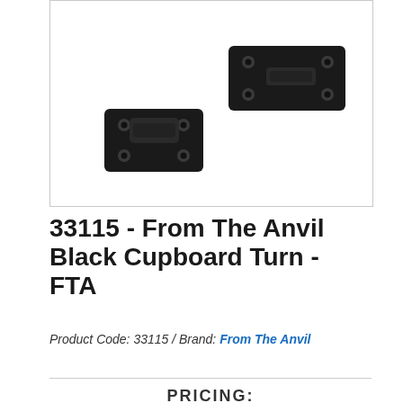[Figure (photo): Black metal cupboard turn latch hardware component, shown disassembled, with two matte black rectangular mounting plates and a rotating bar/lever mechanism, photographed on white background.]
33115 - From The Anvil Black Cupboard Turn - FTA
Product Code: 33115 / Brand: From The Anvil
PRICING: